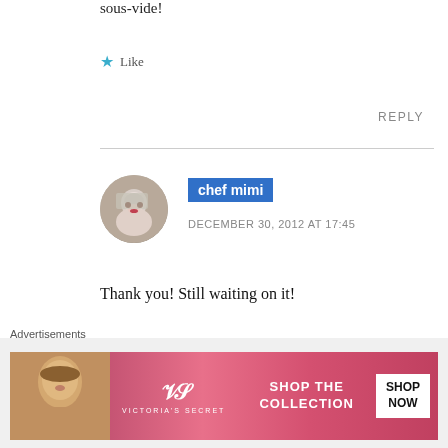sous-vide!
★ Like
REPLY
[Figure (photo): Circular avatar photo of chef mimi, a woman with grey hair and red lipstick]
chef mimi
DECEMBER 30, 2012 AT 17:45
Thank you! Still waiting on it!
★ Like
Advertisements
[Figure (photo): Victoria's Secret advertisement banner with model, VS logo, 'SHOP THE COLLECTION' text, and 'SHOP NOW' button]